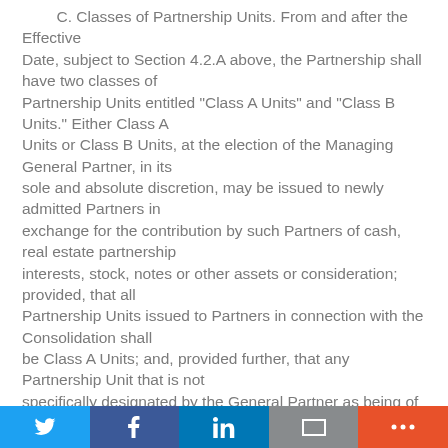C. Classes of Partnership Units. From and after the Effective Date, subject to Section 4.2.A above, the Partnership shall have two classes of Partnership Units entitled "Class A Units" and "Class B Units." Either Class A Units or Class B Units, at the election of the Managing General Partner, in its sole and absolute discretion, may be issued to newly admitted Partners in exchange for the contribution by such Partners of cash, real estate partnership interests, stock, notes or other assets or consideration; provided, that all Partnership Units issued to Partners in connection with the Consolidation shall be Class A Units; and, provided further, that any Partnership Unit that is not specifically designated by the General Partner as being of a particular class
Twitter | Facebook | LinkedIn | Email | More